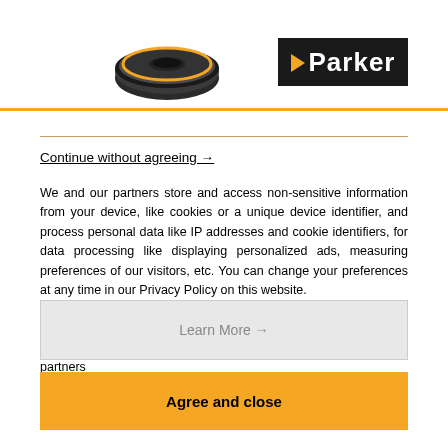[Figure (logo): Parker Hannifin logo — white arrow pointing right followed by 'Parker' text in white, on black background]
Continue without agreeing →
We and our partners store and access non-sensitive information from your device, like cookies or a unique device identifier, and process personal data like IP addresses and cookie identifiers, for data processing like displaying personalized ads, measuring preferences of our visitors, etc. You can change your preferences at any time in our Privacy Policy on this website.
Some partners do not ask for your consent to process your data and rely on their legitimate business interest. You can object to those data processing by clicking on "Learn More". View our partners
Learn More →
Agree and close